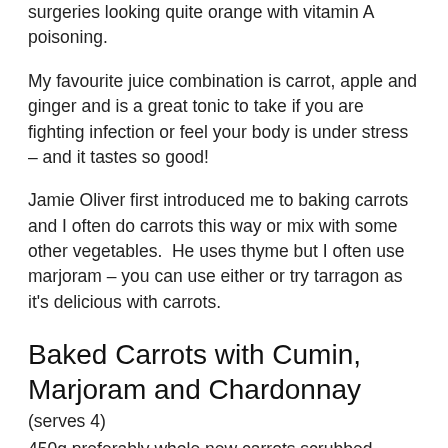surgeries looking quite orange with vitamin A poisoning.
My favourite juice combination is carrot, apple and ginger and is a great tonic to take if you are fighting infection or feel your body is under stress – and it tastes so good!
Jamie Oliver first introduced me to baking carrots and I often do carrots this way or mix with some other vegetables.  He uses thyme but I often use marjoram – you can use either or try tarragon as it's delicious with carrots.
Baked Carrots with Cumin, Marjoram and Chardonnay
(serves 4)
450g preferably whole new carrots scrubbed
1/2 tsp ground cumin* (you can add a little more